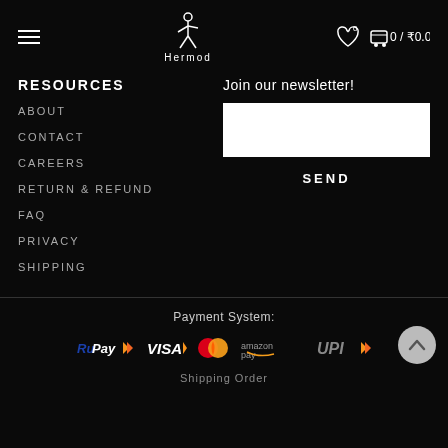Hermod — navigation header with hamburger menu, logo, wishlist icon, cart: 0 / ₹0.00
RESOURCES
ABOUT
CONTACT
CAREERS
RETURN & REFUND
FAQ
PRIVACY
SHIPPING
Join our newsletter!
SEND
[Figure (infographic): Payment System logos: RuPay, VISA, Mastercard, Amazon Pay, UPI]
Shipping Order